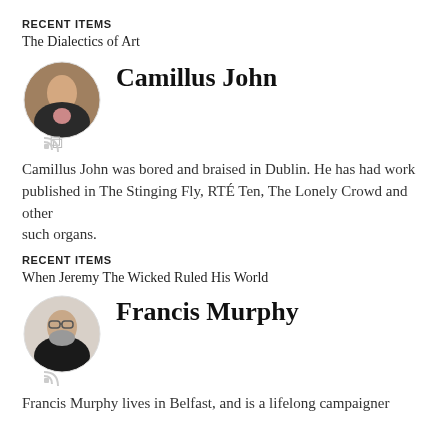RECENT ITEMS
The Dialectics of Art
Camillus John
[Figure (photo): Circular avatar photo of Camillus John, a man in a dark jacket against a brick wall background, with an RSS icon below]
Camillus John was bored and braised in Dublin. He has had work published in The Stinging Fly, RTÉ Ten, The Lonely Crowd and other such organs.
RECENT ITEMS
When Jeremy The Wicked Ruled His World
Francis Murphy
[Figure (photo): Circular avatar photo of Francis Murphy, an older man with glasses and a beard wearing a dark sweater, with an RSS icon below]
Francis Murphy lives in Belfast, and is a lifelong campaigner